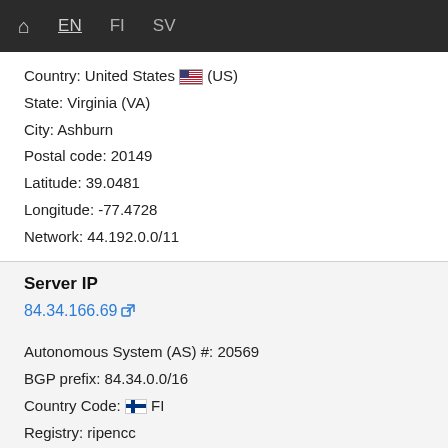🏠 EN FI SV
Country: United States 🇺🇸 (US)
State: Virginia (VA)
City: Ashburn
Postal code: 20149
Latitude: 39.0481
Longitude: -77.4728
Network: 44.192.0.0/11
Server IP
84.34.166.69 [external link]
Autonomous System (AS) #: 20569
BGP prefix: 84.34.0.0/16
Country Code: 🇫🇮 FI
Registry: ripencc
Allocated: 2004-08-23
Info: AINAIP-AS http://www.ainacom.fi, FI
Country: Finland 🇫🇮 (FI)
State: Uusimaa (18)
City: Otalampi